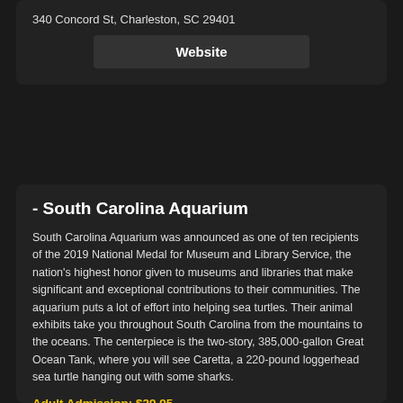340 Concord St, Charleston, SC 29401
Website
- South Carolina Aquarium
South Carolina Aquarium was announced as one of ten recipients of the 2019 National Medal for Museum and Library Service, the nation's highest honor given to museums and libraries that make significant and exceptional contributions to their communities. The aquarium puts a lot of effort into helping sea turtles. Their animal exhibits take you throughout South Carolina from the mountains to the oceans. The centerpiece is the two-story, 385,000-gallon Great Ocean Tank, where you will see Caretta, a 220-pound loggerhead sea turtle hanging out with some sharks.
Adult Admission: $29.95
100 Aquarium Wharf, Charleston, SC 29401